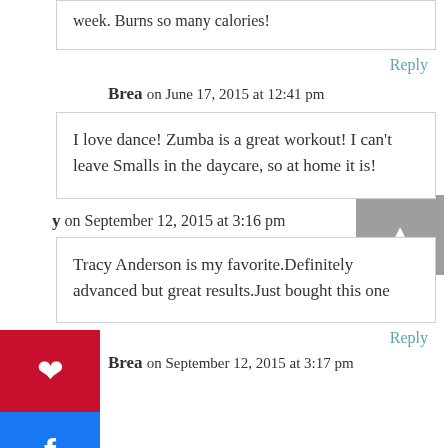week. Burns so many calories!
Reply
Brea on June 17, 2015 at 12:41 pm
I love dance! Zumba is a great workout! I can't leave Smalls in the daycare, so at home it is!
on September 12, 2015 at 3:16 pm
Tracy Anderson is my favorite.Definitely advanced but great results.Just bought this one
Reply
Brea on September 12, 2015 at 3:17 pm